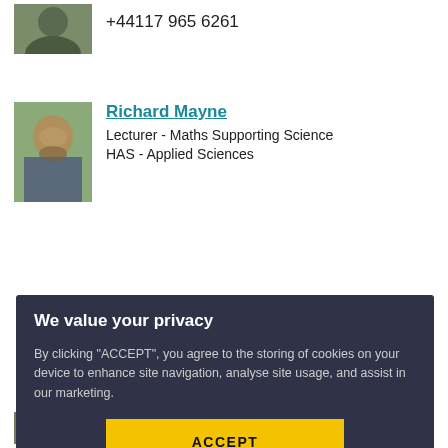+44117 965 6261
[Figure (photo): Profile photo of a person partially visible at top]
[Figure (photo): Profile photo of Richard Mayne, a man with beard]
Richard Mayne
Lecturer - Maths Supporting Science
HAS - Applied Sciences
We value your privacy
By clicking “ACCEPT”, you agree to the storing of cookies on your device to enhance site navigation, analyse site usage, and assist in our marketing.
ACCEPT
VIEW COOKIE SETTINGS
Senior Lecturer
Faculty of Business and Law (FBL)